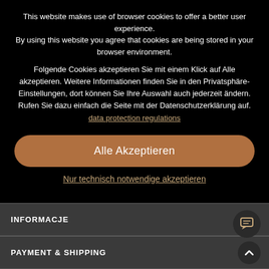This website makes use of browser cookies to offer a better user experience. By using this website you agree that cookies are being stored in your browser environment.
Folgende Cookies akzeptieren Sie mit einem Klick auf Alle akzeptieren. Weitere Informationen finden Sie in den Privatsphäre-Einstellungen, dort können Sie Ihre Auswahl auch jederzeit ändern. Rufen Sie dazu einfach die Seite mit der Datenschutzerklärung auf. data protection regulations
Alle Akzeptieren
Nur technisch notwendige akzeptieren
INFORMACJE +
PAYMENT & SHIPPING +
Help / Support | Instructions on withdrawal | Merchant logi
Newsletter | Privacy and Data Protection | Contact | Defective pr